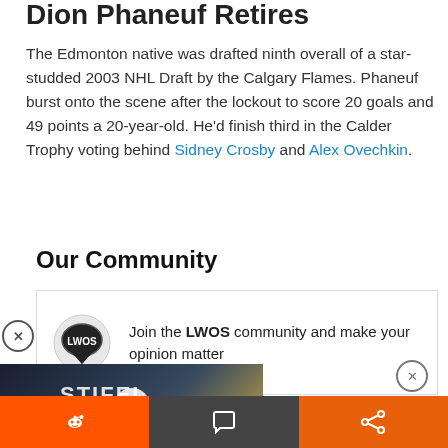Dion Phaneuf Retires
The Edmonton native was drafted ninth overall of a star-studded 2003 NHL Draft by the Calgary Flames. Phaneuf burst onto the scene after the lockout to score 20 goals and 49 points a 20-year-old. He'd finish third in the Calder Trophy voting behind Sidney Crosby and Alex Ovechkin.
Our Community
[Figure (logo): LWOS community logo and join message box with LWOS speech bubble logo icon and text: Join the LWOS community and make your opinion matter]
[Figure (screenshot): Video overlay showing hockey game at Stifel arena with play button, bottom bar with Reddit, comment, and share icons]